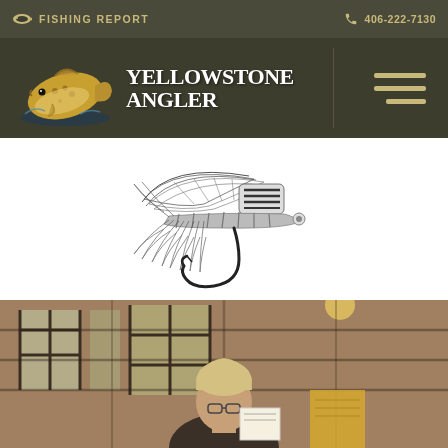🐟 FISHING REPORT   📞 406-222-7130
[Figure (logo): Yellowstone Angler logo with brown trout fish illustration and text 'YELLOWSTONE ANGLER']
[Figure (illustration): Black and white pencil sketch illustration of a wet fly fishing lure with feathers, hackle, and hook]
[Figure (photo): Interior photo of what appears to be a fly fishing shop or lodge with a person with blonde/gray hair in the foreground, grid windows and warm lighting in background]